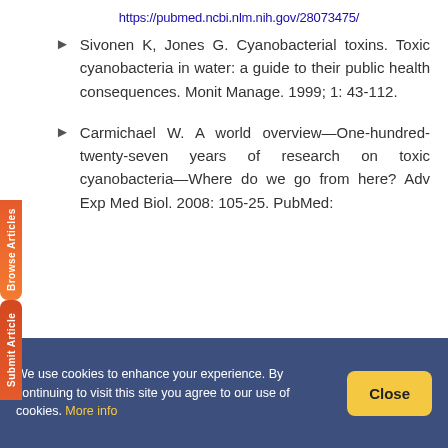https://pubmed.ncbi.nlm.nih.gov/28073475/
Sivonen K, Jones G. Cyanobacterial toxins. Toxic cyanobacteria in water: a guide to their public health consequences. Monit Manage. 1999; 1: 43-112.
Carmichael W. A world overview—One-hundred-twenty-seven years of research on toxic cyanobacteria—Where do we go from here? Adv Exp Med Biol. 2008: 105-25. PubMed:
We use cookies to enhance your experience. By continuing to visit this site you agree to our use of cookies. More info
Close